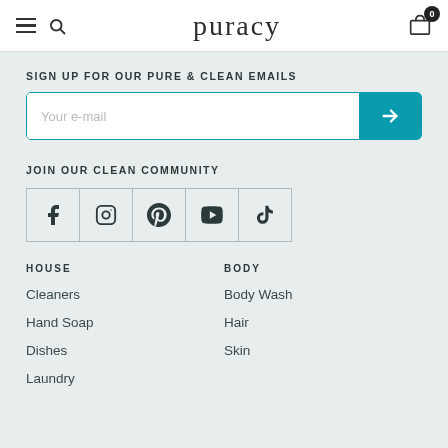puracy
SIGN UP FOR OUR PURE & CLEAN EMAILS
Your e-mail
JOIN OUR CLEAN COMMUNITY
[Figure (infographic): Social media icons: Facebook, Instagram, Pinterest, YouTube, TikTok]
HOUSE
BODY
Cleaners
Body Wash
Hand Soap
Hair
Dishes
Skin
Laundry